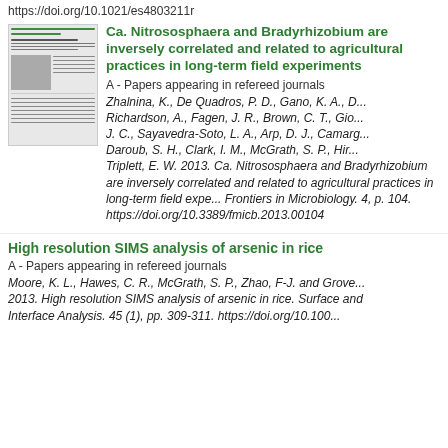https://doi.org/10.1021/es4803211r
[Figure (thumbnail): Thumbnail preview of the article PDF for Ca. Nitrososphaera and Bradyrhizobium paper]
Ca. Nitrososphaera and Bradyrhizobium are inversely correlated and related to agricultural practices in long-term field experiments
A - Papers appearing in refereed journals
Zhalnina, K., De Quadros, P. D., Gano, K. A., D... Richardson, A., Fagen, J. R., Brown, C. T., Gio... J. C., Sayavedra-Soto, L. A., Arp, D. J., Camarg... Daroub, S. H., Clark, I. M., McGrath, S. P., Hir... Triplett, E. W. 2013. Ca. Nitrososphaera and Bradyrhizobium are inversely correlated and related to agricultural practices in long-term field experiments. Frontiers in Microbiology. 4, p. 104. https://doi.org/10.3389/fmicb.2013.00104
High resolution SIMS analysis of arsenic in rice
A - Papers appearing in refereed journals
Moore, K. L., Hawes, C. R., McGrath, S. P., Zhao, F-J. and Groves... 2013. High resolution SIMS analysis of arsenic in rice. Surface and Interface Analysis. 45 (1), pp. 309-311. https://doi.org/10.100...